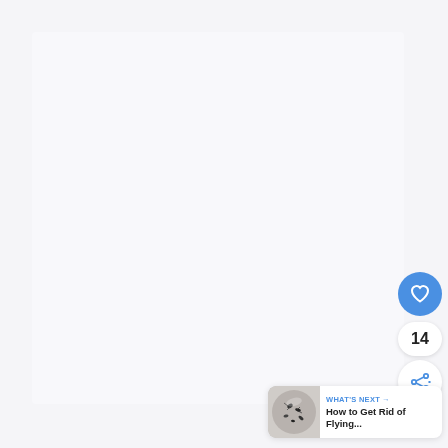[Figure (screenshot): Large white/light gray blank content area (article body placeholder)]
[Figure (infographic): Blue circular like/heart button (FAB)]
14
[Figure (infographic): White circular share button with share icon]
[Figure (screenshot): What's Next card: thumbnail of ants/flying insects, label 'WHAT'S NEXT →', title 'How to Get Rid of Flying...']